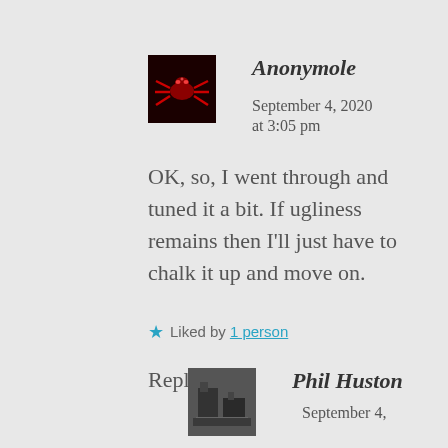Anonymole  September 4, 2020 at 3:05 pm
OK, so, I went through and tuned it a bit. If ugliness remains then I'll just have to chalk it up and move on.
★ Liked by 1 person
Reply
Phil Huston  September 4,